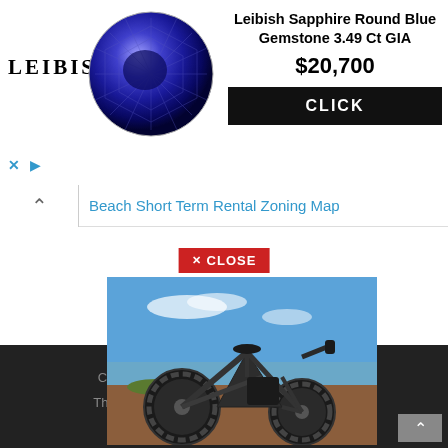[Figure (other): Advertisement banner: Leibish logo, blue sapphire gemstone round image, product title 'Leibish Sapphire Round Blue Gemstone 3.49 Ct GIA', price '$20,700', black CLICK button, and ad controls (X and play icon)]
Beach Short Term Rental Zoning Map
✕ CLOSE
[Figure (photo): Photo of a fat-tire electric mountain bike parked on red dirt terrain with blue sky, clouds, and ocean/mountains in the background]
Copy... rved. Theme... Press.